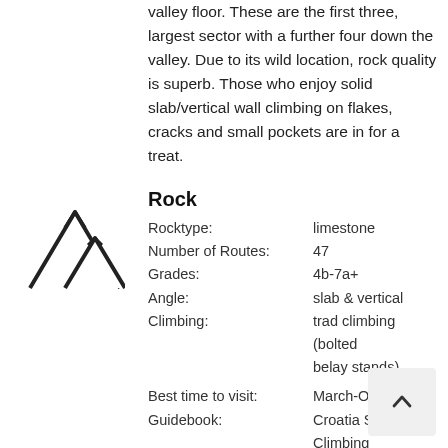valley floor. These are the first three, largest sector with a further four down the valley. Due to its wild location, rock quality is superb. Those who enjoy solid slab/vertical wall climbing on flakes, cracks and small pockets are in for a treat.
[Figure (illustration): Mountain/rock climbing icon: two triangular mountain peaks outlined in black with a small diamond/snow cap detail]
Rock
Rocktype: limestone
Number of Routes: 47
Grades: 4b-7a+
Angle: slab & vertical
Climbing: trad climbing (bolted belay stands)
Best time to visit: March-Oct
Guidebook: Croatia Sport Climbing Guidebook by Boris Cujic